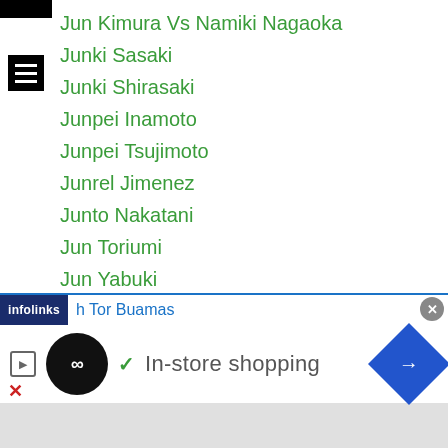Jun Kimura Vs Namiki Nagaoka
Junki Sasaki
Junki Shirasaki
Junpei Inamoto
Junpei Tsujimoto
Junrel Jimenez
Junto Nakatani
Jun Toriumi
Jun Yabuki
Junya Shimada
Jun Zhao
Jutamas Jitpong
K3-gym
KABC
Kadoebi
h Tor Buamas
[Figure (screenshot): Infolinks advertisement banner showing 'In-store shopping' with a logo circle, checkmark, play button, blue diamond arrow button, close X button, and gray bottom area.]